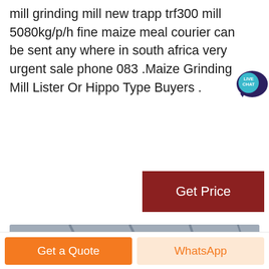mill grinding mill new trapp trf300 mill 5080kg/p/h fine maize meal courier can be sent any where in south africa very urgent sale phone 083 .Maize Grinding Mill Lister Or Hippo Type Buyers .
[Figure (other): Button: Get Price on dark red background]
[Figure (photo): Industrial grinding mill machines in a factory/warehouse setting. Large cylindrical dark-colored grinding mills with red accent bands visible, industrial building structure in background.]
[Figure (other): Bottom action bar with two buttons: 'Get a Quote' (orange) and 'WhatsApp' (light orange/peach)]